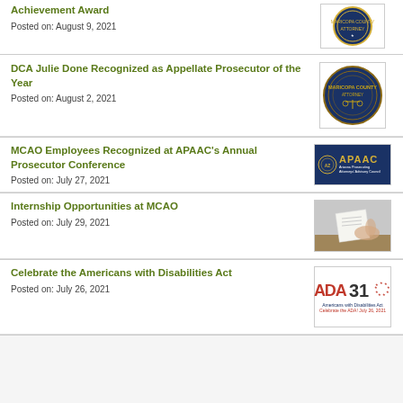Achievement Award
Posted on: August 9, 2021
DCA Julie Done Recognized as Appellate Prosecutor of the Year
Posted on: August 2, 2021
MCAO Employees Recognized at APAAC's Annual Prosecutor Conference
Posted on: July 27, 2021
Internship Opportunities at MCAO
Posted on: July 29, 2021
Celebrate the Americans with Disabilities Act
Posted on: July 26, 2021